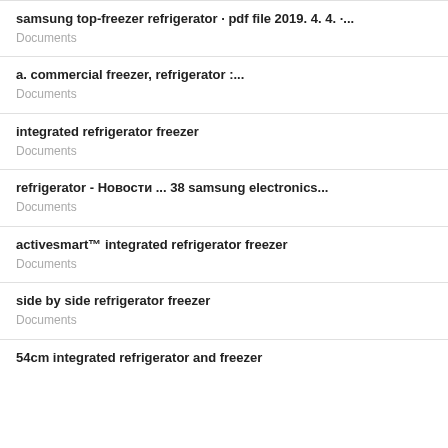samsung top-freezer refrigerator · pdf file 2019. 4. 4. ·...
Documents
a. commercial freezer, refrigerator :...
Documents
integrated refrigerator freezer
Documents
refrigerator - Новости ... 38 samsung electronics...
Documents
activesmart™ integrated refrigerator freezer
Documents
side by side refrigerator freezer
Documents
54cm integrated refrigerator and freezer